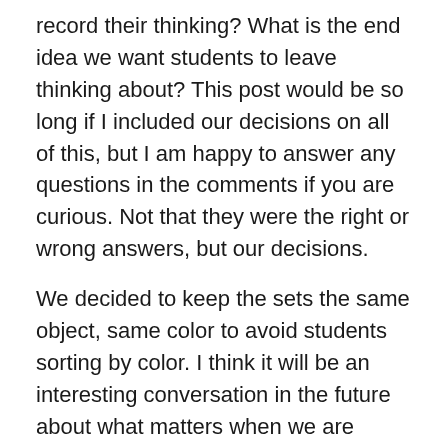record their thinking? What is the end idea we want students to leave thinking about? This post would be so long if I included our decisions on all of this, but I am happy to answer any questions in the comments if you are curious. Not that they were the right or wrong answers, but our decisions.
We decided to keep the sets the same object, same color to avoid students sorting by color. I think it will be an interesting conversation in the future about what matters when we are counting, but for the first time, we wanted to really see what they did with counting without distractions and how they recorded their count. We made available big cups, small cups, ten frames and plates.
These are some of the interesting things we observed students considering when counting and explaining their